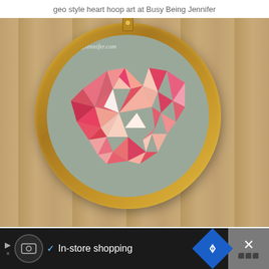geo style heart hoop art at Busy Being Jennifer
[Figure (photo): A geometric-style embroidery hoop art piece showing a heart made of triangular sections in various shades of pink, red, coral, and light pink on a grey felt background, mounted in a wooden embroidery hoop hung on a wood-paneled wall. Watermark reads 'BusyBeingJennifer.com']
In-store shopping
Ad bar with logo, In-store shopping text, navigation and close buttons